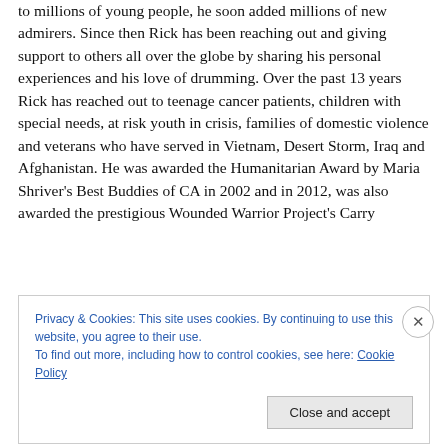to millions of young people, he soon added millions of new admirers. Since then Rick has been reaching out and giving support to others all over the globe by sharing his personal experiences and his love of drumming. Over the past 13 years Rick has reached out to teenage cancer patients, children with special needs, at risk youth in crisis, families of domestic violence and veterans who have served in Vietnam, Desert Storm, Iraq and Afghanistan. He was awarded the Humanitarian Award by Maria Shriver's Best Buddies of CA in 2002 and in 2012, was also awarded the prestigious Wounded Warrior Project's Carry
Privacy & Cookies: This site uses cookies. By continuing to use this website, you agree to their use. To find out more, including how to control cookies, see here: Cookie Policy